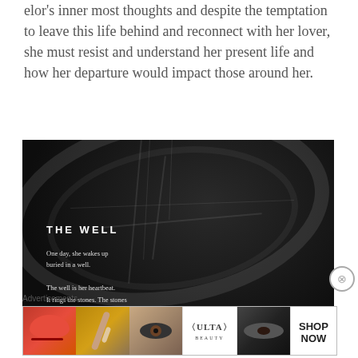elor's inner most thoughts and despite the temptation to leave this life behind and reconnect with her lover, she must resist and understand her present life and how her departure would impact those around her.
[Figure (illustration): Dark artistic image with a poem overlay. Title reads 'THE WELL'. Poem text: 'One day, she wakes up buried in a well. The well is her heartbeat. It rings the stones. The stones are crumbling too slowly for anyone to notice. The sky is a distant moon, a past life. She forgets her own name. Her name']
Advertisements
[Figure (photo): Ulta Beauty advertisement banner showing beauty/makeup imagery with lips, brush, eyes, Ulta logo, and 'SHOP NOW' text]